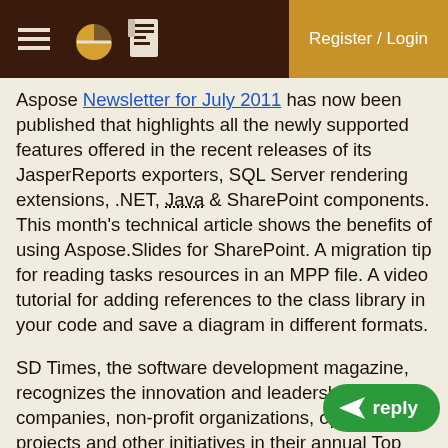Register / Login
Aspose Newsletter for July 2011 has now been published that highlights all the newly supported features offered in the recent releases of its JasperReports exporters, SQL Server rendering extensions, .NET, Java & SharePoint components. This month's technical article shows the benefits of using Aspose.Slides for SharePoint. A migration tip for reading tasks resources in an MPP file. A video tutorial for adding references to the class library in your code and save a diagram in different formats.
SD Times, the software development magazine, recognizes the innovation and leadership of companies, non-profit organizations, open source projects and other initiatives in their annual Top 100 awards. This year, Aspose was included in the Components category. This is the third year in a row that Aspose receives an SD Times Top 100 award. It is inspiring to be on the same list as household names such as Apple, Google and Microsoft. We hope that our attention to our customers'